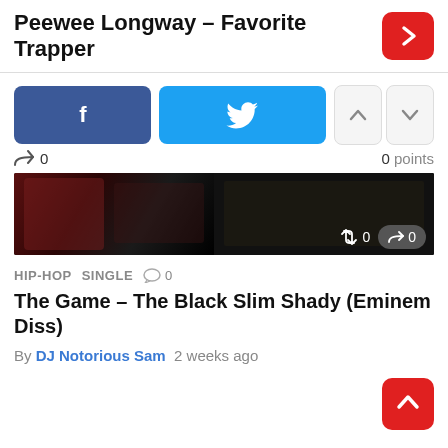Peewee Longway – Favorite Trapper
[Figure (screenshot): Facebook and Twitter share buttons, upvote/downvote buttons]
0   0 points
[Figure (photo): Thumbnail strip showing hip-hop related imagery with retweet and share counts (0 each)]
HIP-HOP   SINGLE   ○ 0
The Game – The Black Slim Shady (Eminem Diss)
By DJ Notorious Sam   2 weeks ago